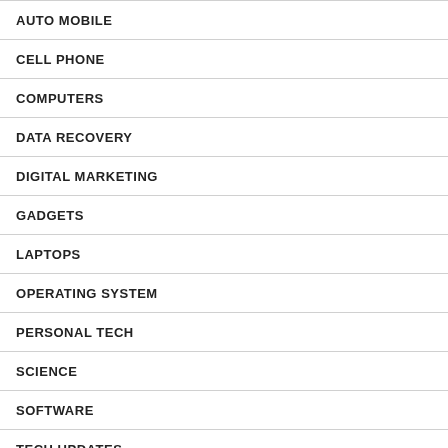AUTO MOBILE
CELL PHONE
COMPUTERS
DATA RECOVERY
DIGITAL MARKETING
GADGETS
LAPTOPS
OPERATING SYSTEM
PERSONAL TECH
SCIENCE
SOFTWARE
TECH UPDATES